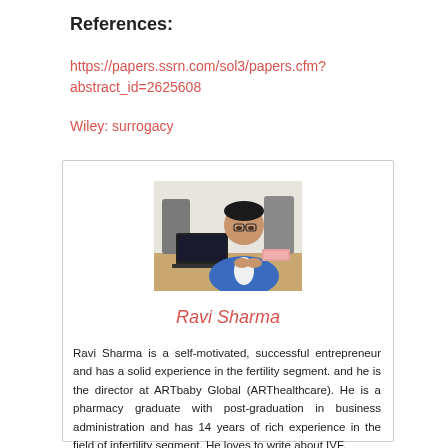References:
https://papers.ssrn.com/sol3/papers.cfm?abstract_id=2625608
Wiley: surrogacy
[Figure (photo): Portrait photo of Ravi Sharma seated at a desk with a laptop, wearing a blue blazer]
Ravi Sharma
Ravi Sharma is a self-motivated, successful entrepreneur and has a solid experience in the fertility segment. and he is the director at ARTbaby Global (ARThealthcare). He is a pharmacy graduate with post-graduation in business administration and has 14 years of rich experience in the field of infertility segment. He loves to write about IVF,